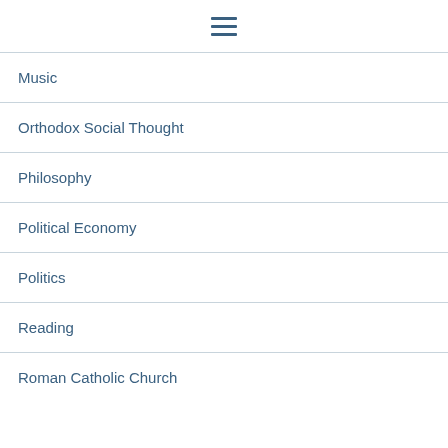≡ (hamburger menu icon)
Music
Orthodox Social Thought
Philosophy
Political Economy
Politics
Reading
Roman Catholic Church